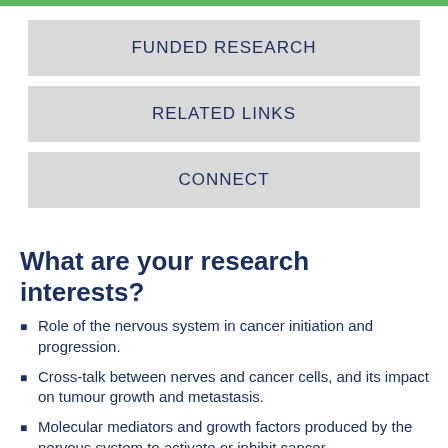FUNDED RESEARCH
RELATED LINKS
CONNECT
What are your research interests?
Role of the nervous system in cancer initiation and progression.
Cross-talk between nerves and cancer cells, and its impact on tumour growth and metastasis.
Molecular mediators and growth factors produced by the nervous system to activate or inhibit cancer.
Why did you get into research?